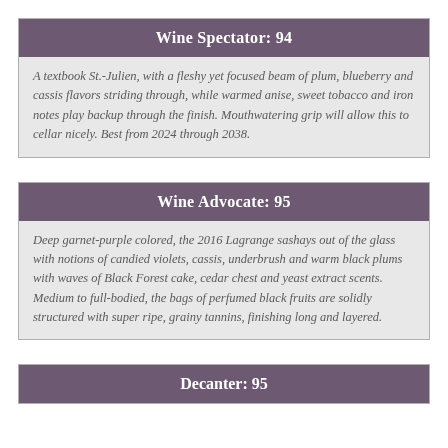Wine Spectator: 94
A textbook St.-Julien, with a fleshy yet focused beam of plum, blueberry and cassis flavors striding through, while warmed anise, sweet tobacco and iron notes play backup through the finish. Mouthwatering grip will allow this to cellar nicely. Best from 2024 through 2038.
Wine Advocate: 95
Deep garnet-purple colored, the 2016 Lagrange sashays out of the glass with notions of candied violets, cassis, underbrush and warm black plums with waves of Black Forest cake, cedar chest and yeast extract scents. Medium to full-bodied, the bags of perfumed black fruits are solidly structured with super ripe, grainy tannins, finishing long and layered.
Decanter: 95